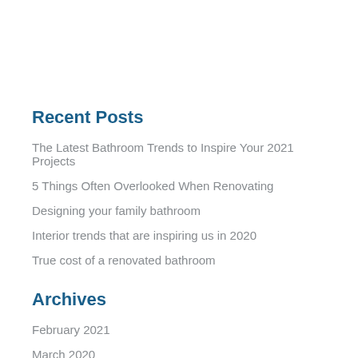Recent Posts
The Latest Bathroom Trends to Inspire Your 2021 Projects
5 Things Often Overlooked When Renovating
Designing your family bathroom
Interior trends that are inspiring us in 2020
True cost of a renovated bathroom
Archives
February 2021
March 2020
February 2020